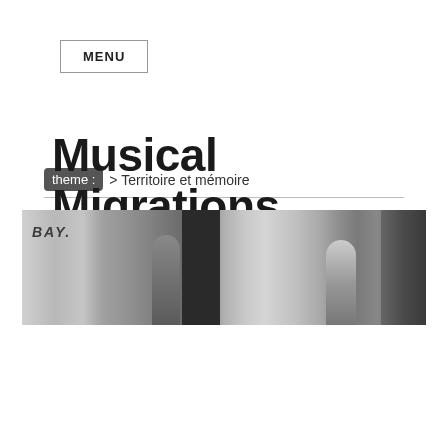MENU
theme : > Territoire et mémoire
Musical Migrations
[Figure (photo): Black and white street photograph banner showing people near a wall with 'BAY.' graffiti and a dark doorway]